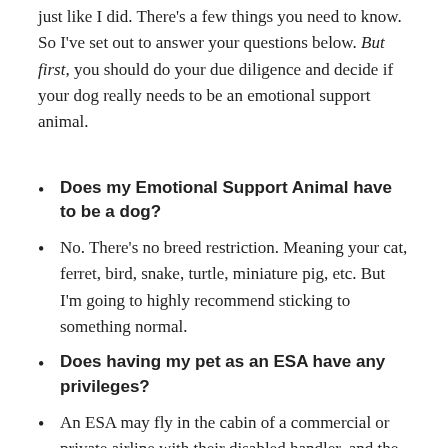just like I did. There's a few things you need to know. So I've set out to answer your questions below. But first, you should do your due diligence and decide if your dog really needs to be an emotional support animal.
Does my Emotional Support Animal have to be a dog?
No. There's no breed restriction. Meaning your cat, ferret, bird, snake, turtle, miniature pig, etc. But I'm going to highly recommend sticking to something normal.
Does having my pet as an ESA have any privileges?
An ESA may fly in the cabin of a commercial or private airline with their disabled handler, and the handler does not have to pay a pet